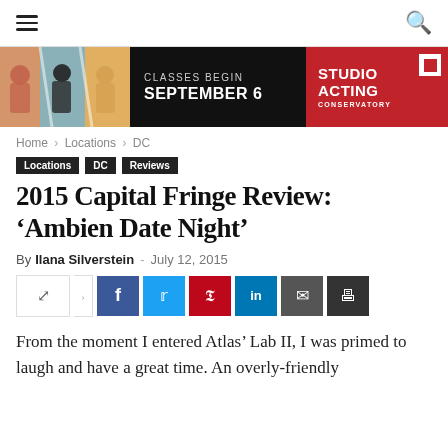Navigation bar with hamburger menu and search icon
[Figure (illustration): Advertisement banner: Classes Begin September 6 / Studio Acting Conservatory, with photos of people on left, black center, red right panel]
Home › Locations › DC
Locations
DC
Reviews
2015 Capital Fringe Review: 'Ambien Date Night'
By Ilana Silverstein  -  July 12, 2015
[Figure (infographic): Social share buttons: share toggle, Facebook, Twitter, Pinterest, LinkedIn, Email, Print]
From the moment I entered Atlas' Lab II, I was primed to laugh and have a great time. An overly-friendly